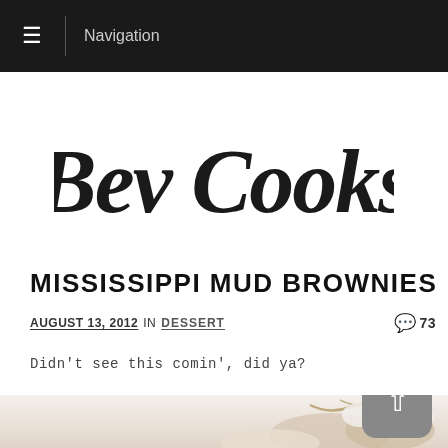Navigation
[Figure (logo): Bev Cooks handwritten script logo in black on white background]
MISSISSIPPI MUD BROWNIES
AUGUST 13, 2012 IN DESSERT  73
Didn't see this comin', did ya?
[Figure (photo): Partial photo of Mississippi Mud Brownies with chocolate and marshmallow toppings, cropped at bottom of page]